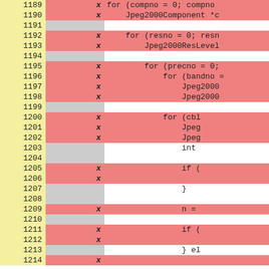| line | mark | code |
| --- | --- | --- |
| 1189 | x | for (compno = 0; compno |
| 1190 | x |     Jpeg2000Component *c |
| 1191 |  |  |
| 1192 | x |     for (resno = 0; resn |
| 1193 | x |         Jpeg2000ResLevel |
| 1194 |  |  |
| 1195 | x |         for (precno = 0; |
| 1196 | x |             for (bandno = |
| 1197 | x |                 Jpeg2000 |
| 1198 | x |                 Jpeg2000 |
| 1199 |  |  |
| 1200 | x |             for (cbl |
| 1201 | x |                 Jpeg |
| 1202 | x |                 Jpeg |
| 1203 |  |                 int |
| 1204 |  |  |
| 1205 | x |                 if ( |
| 1206 | x |                  |
| 1207 |  |                 } |
| 1208 |  |  |
| 1209 | x |                 n = |
| 1210 |  |  |
| 1211 | x |                 if ( |
| 1212 | x |                  |
| 1213 |  |                 } el |
| 1214 | x |  |